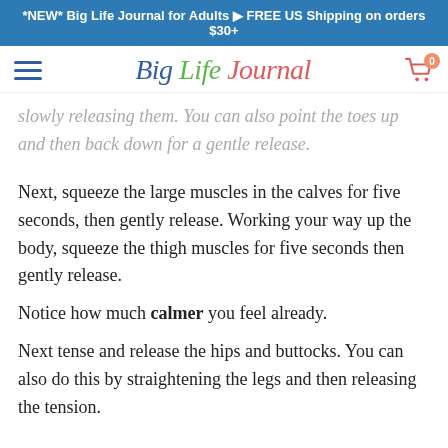*NEW* Big Life Journal for Adults 🡒 FREE US Shipping on orders $30+
[Figure (logo): Big Life Journal logo with hamburger menu and cart icon]
slowly releasing them. You can also point the toes up and then back down for a gentle release.
Next, squeeze the large muscles in the calves for five seconds, then gently release. Working your way up the body, squeeze the thigh muscles for five seconds then gently release.
Notice how much calmer you feel already.
Next tense and release the hips and buttocks. You can also do this by straightening the legs and then releasing the tension.